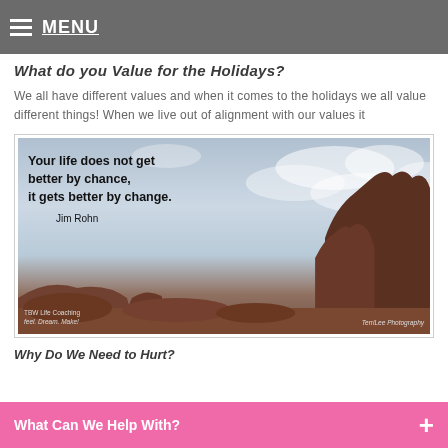MENU
What do you Value for the Holidays?
We all have different values and when it comes to the holidays we all value different things! When we live out of alignment with our values it
[Figure (photo): Motivational quote image over a red rock formation against a cloudy sky. Text reads: 'Your life does not get better by chance, it gets better by change. - Jim Rohn'. Logo 'TBW Life Coaching' in bottom left, 'TerriLee Photography' in bottom right.]
Why Do We Need to Hurt?
What Can We Help With?